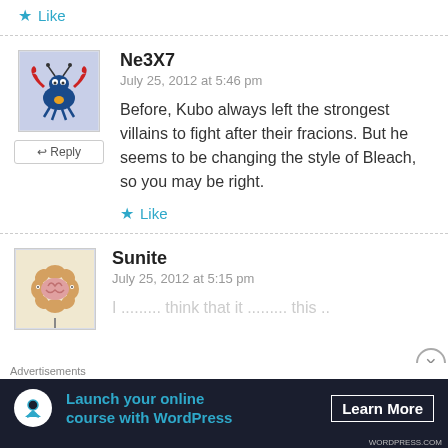★ Like
Ne3X7
July 25, 2012 at 5:46 pm
Before, Kubo always left the strongest villains to fight after their fracions. But he seems to be changing the style of Bleach, so you may be right.
★ Like
[Figure (illustration): Avatar of Ne3X7: cartoon crab/bird character on light blue background]
Sunite
July 25, 2012 at 5:15 pm
[Figure (illustration): Avatar of Sunite: cartoon brain/flower character on beige background]
Advertisements
Launch your online course with WordPress   Learn More